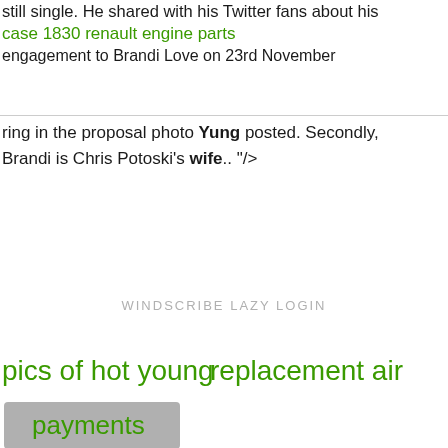still single. He shared with his Twitter fans about his
case 1830 renault engine parts
engagement to Brandi Love on 23rd November
ring in the proposal photo Yung posted. Secondly, Brandi is Chris Potoski's wife... "/>
WINDSCRIBE LAZY LOGIN
pics of hot young
replacement air
payments